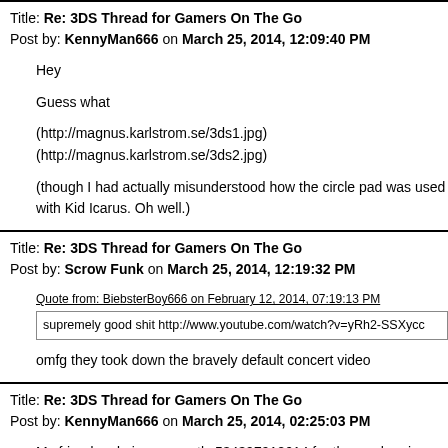Title: Re: 3DS Thread for Gamers On The Go
Post by: KennyMan666 on March 25, 2014, 12:09:40 PM
Hey

Guess what

(http://magnus.karlstrom.se/3ds1.jpg)
(http://magnus.karlstrom.se/3ds2.jpg)

(though I had actually misunderstood how the circle pad was used with Kid Icarus. Oh well.)
Title: Re: 3DS Thread for Gamers On The Go
Post by: Scrow Funk on March 25, 2014, 12:19:32 PM
Quote from: BiebsterBoy666 on February 12, 2014, 07:19:13 PM
supremely good shit http://www.youtube.com/watch?v=yRh2-SSXycc

omfg they took down the bravely default concert video
Title: Re: 3DS Thread for Gamers On The Go
Post by: KennyMan666 on March 25, 2014, 02:25:03 PM
My friend code is apparently 534397912614 for those who give a shit.